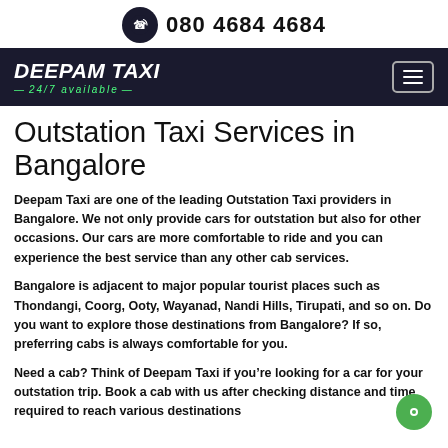080 4684 4684
[Figure (logo): Deepam Taxi logo with 24/7 available tagline on dark navy background, with hamburger menu icon]
Outstation Taxi Services in Bangalore
Deepam Taxi are one of the leading Outstation Taxi providers in Bangalore. We not only provide cars for outstation but also for other occasions. Our cars are more comfortable to ride and you can experience the best service than any other cab services.
Bangalore is adjacent to major popular tourist places such as Thondangi, Coorg, Ooty, Wayanad, Nandi Hills, Tirupati, and so on. Do you want to explore those destinations from Bangalore? If so, preferring cabs is always comfortable for you.
Need a cab? Think of Deepam Taxi if you're looking for a car for your outstation trip. Book a cab with us after checking distance and time required to reach various destinations (the last line is partially cut off)